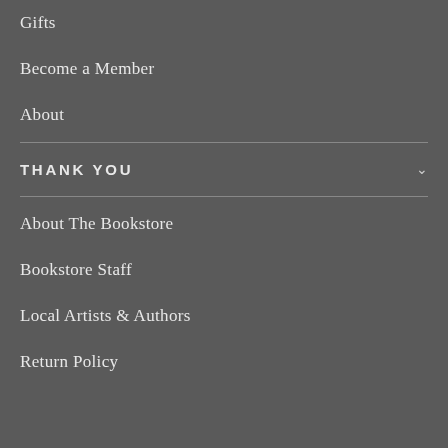Gifts
Become a Member
About
THANK YOU
About The Bookstore
Bookstore Staff
Local Artists & Authors
Return Policy